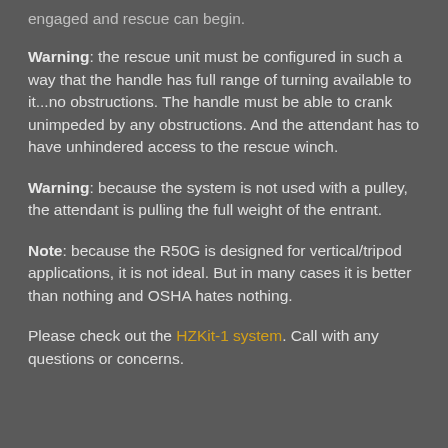engaged and rescue can begin.
Warning: the rescue unit must be configured in such a way that the handle has full range of turning available to it...no obstructions. The handle must be able to crank unimpeded by any obstructions. And the attendant has to have unhindered access to the rescue winch.
Warning: because the system is not used with a pulley, the attendant is pulling the full weight of the entrant.
Note: because the R50G is designed for vertical/tripod applications, it is not ideal. But in many cases it is better than nothing and OSHA hates nothing.
Please check out the HZKit-1 system. Call with any questions or concerns.